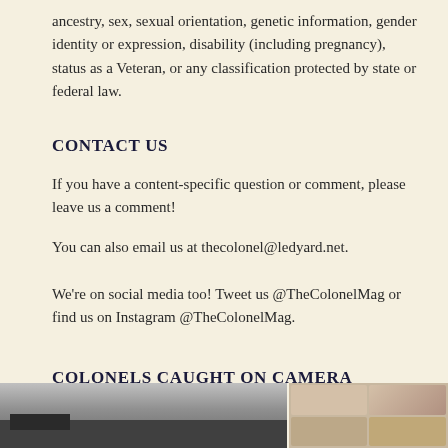ancestry, sex, sexual orientation, genetic information, gender identity or expression, disability (including pregnancy), status as a Veteran, or any classification protected by state or federal law.
CONTACT US
If you have a content-specific question or comment, please leave us a comment!
You can also email us at thecolonel@ledyard.net.
We're on social media too! Tweet us @TheColonelMag or find us on Instagram @TheColonelMag.
COLONELS CAUGHT ON CAMERA
[Figure (photo): Two photos side by side at the bottom of the page: left is a large grayscale/grey photo, right shows people's faces in a grid arrangement.]